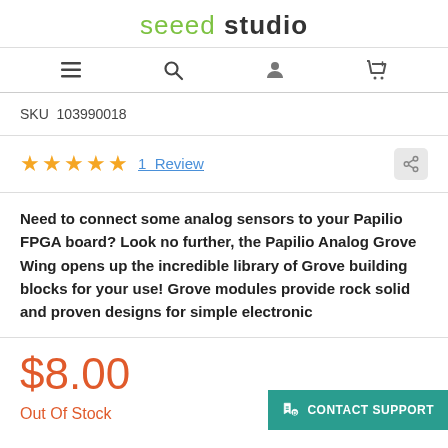seeed studio
SKU  103990018
★★★★★  1 Review
Need to connect some analog sensors to your Papilio FPGA board? Look no further, the Papilio Analog Grove Wing opens up the incredible library of Grove building blocks for your use! Grove modules provide rock solid and proven designs for simple electronic
$8.00
Out Of Stock